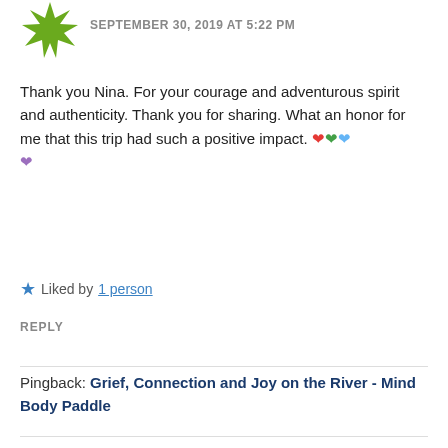[Figure (illustration): Green spiky leaf/star avatar icon]
SEPTEMBER 30, 2019 AT 5:22 PM
Thank you Nina. For your courage and adventurous spirit and authenticity. Thank you for sharing. What an honor for me that this trip had such a positive impact. ❤️💚💙 💜
★ Liked by 1 person
REPLY
Pingback: Grief, Connection and Joy on the River - Mind Body Paddle